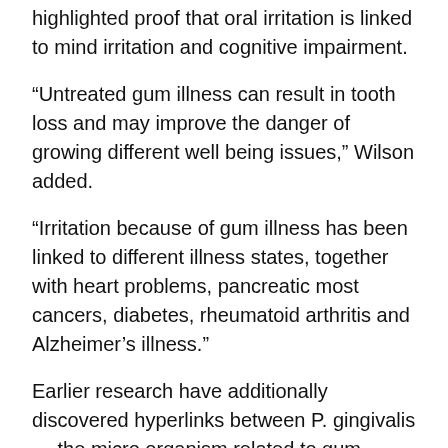highlighted proof that oral irritation is linked to mind irritation and cognitive impairment.
“Untreated gum illness can result in tooth loss and may improve the danger of growing different well being issues,” Wilson added.
“Irritation because of gum illness has been linked to different illness states, together with heart problems, pancreatic most cancers, diabetes, rheumatoid arthritis and Alzheimer’s illness.”
Earlier research have additionally discovered hyperlinks between P. gingivalis — the micro organism related to gum illness — and Alzheimer’s, Wilson instructed CNN.
Socioeconomics play a job
The NYU-led evaluation additionally famous that tooth loss